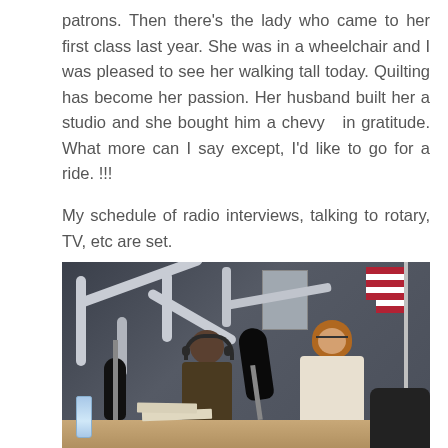patrons. Then there's the lady who came to her first class last year. She was in a wheelchair and I was pleased to see her walking tall today. Quilting has become her passion. Her husband built her a studio and she bought him a chevy  in gratitude. What more can I say except, I'd like to go for a ride. !!!

My schedule of radio interviews, talking to rotary, TV, etc are set.
[Figure (photo): Photo of a radio studio with two people sitting at a broadcast desk with large microphone arms and microphones in the foreground. An American flag is visible on the right side. A poster hangs on the dark wall in the background. Recording equipment and a water bottle are on the desk.]